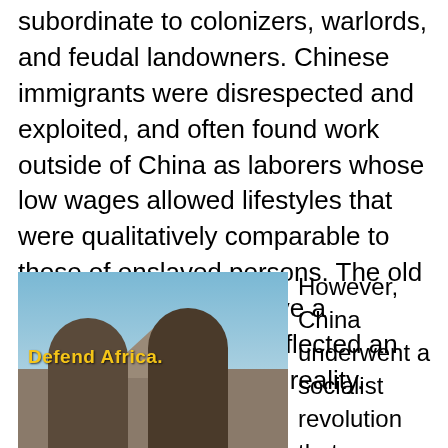subordinate to colonizers, warlords, and feudal landowners. Chinese immigrants were disrespected and exploited, and often found work outside of China as laborers whose low wages allowed lifestyles that were qualitatively comparable to those of enslaved persons. The old saying: “He doesn’t have a Chinaman’s chance” reflected an abusive, discriminatory reality.
[Figure (photo): Photo showing two people in military-style clothing raising their arms, holding what appear to be weapons/instruments, with a mountain landscape in background. Yellow bold text overlay reads 'Defend Africa.' with a circular emblem visible.]
However, China underwent a socialist revolution that fundamentally transformed the